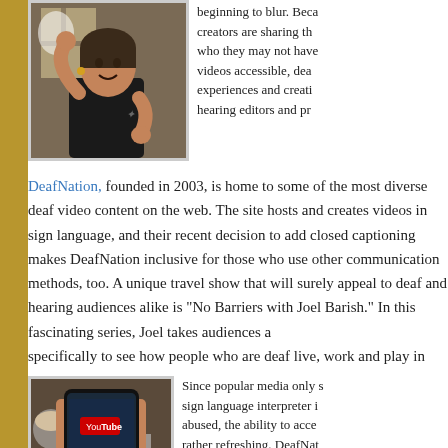[Figure (photo): Woman in black sleeveless top using sign language, smiling, indoors]
beginning to blur. Because creators are sharing their videos with who they may not have... videos accessible, deaf experiences and creati... hearing editors and pro...
DeafNation, founded in 2003, is home to some of the most diverse deaf video content on the web. The site hosts and creates videos in sign language, and their recent decision to add closed captioning makes DeafNation inclusive for those who use other communication methods, too. A unique travel show that will surely appeal to deaf and hearing audiences alike is “No Barriers with Joel Barish.” In this fascinating series, Joel takes audiences a... specifically to see how people who are deaf live, work and play in...
[Figure (photo): Hand holding a smartphone displaying YouTube video player, with coffee cup in background]
Since popular media only s... sign language interpreter i... abused, the ability to acce... rather refreshing. DeafNat... which discusses health, c...